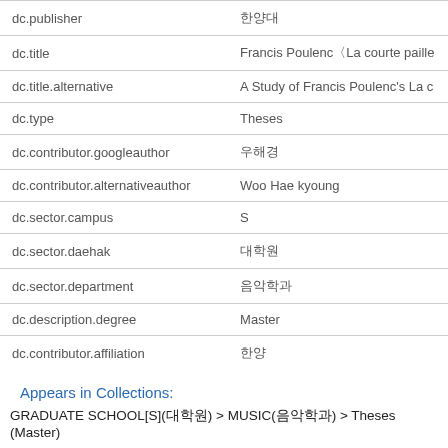| field | value |
| --- | --- |
| dc.publisher | 한양대 |
| dc.title | Francis Poulenc〈La courte paille |
| dc.title.alternative | A Study of Francis Poulenc's La c |
| dc.type | Theses |
| dc.contributor.googleauthor | 우해경 |
| dc.contributor.alternativeauthor | Woo Hae kyoung |
| dc.sector.campus | S |
| dc.sector.daehak | 대학원 |
| dc.sector.department | 음악학과 |
| dc.description.degree | Master |
| dc.contributor.affiliation | 한양 |
Appears in Collections:
GRADUATE SCHOOL[S](대학원) > MUSIC(음악학과) > Theses (Master)
Files in This Item:
There are no files associated with this item.